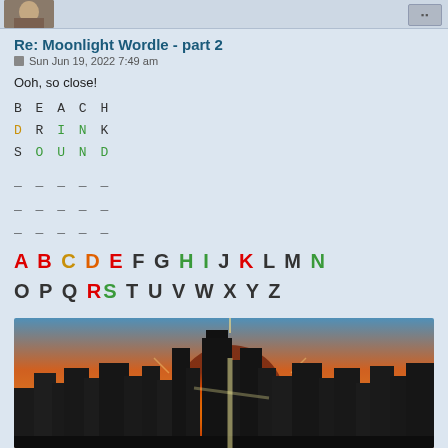[Figure (photo): Avatar/profile picture thumbnail in top left corner]
Re: Moonlight Wordle - part 2
Sun Jun 19, 2022 7:49 am
Ooh, so close!
BEACH
DRINK
SOUND
_____
_____
_____
A B C D E F G H I J K L M N
O P Q R S T U V W X Y Z
[Figure (photo): City skyline at sunset with sun bursting between skyscrapers, orange and golden sky]